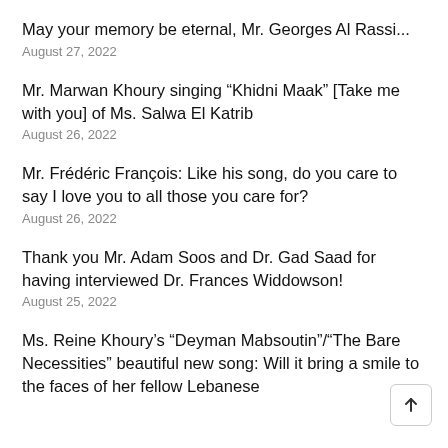May your memory be eternal, Mr. Georges Al Rassi...
August 27, 2022
Mr. Marwan Khoury singing “Khidni Maak” [Take me with you] of Ms. Salwa El Katrib
August 26, 2022
Mr. Frédéric François: Like his song, do you care to say I love you to all those you care for?
August 26, 2022
Thank you Mr. Adam Soos and Dr. Gad Saad for having interviewed Dr. Frances Widdowson!
August 25, 2022
Ms. Reine Khoury’s “Deyman Mabsoutin”/“The Bare Necessities” beautiful new song: Will it bring a smile to the faces of her fellow Lebanese